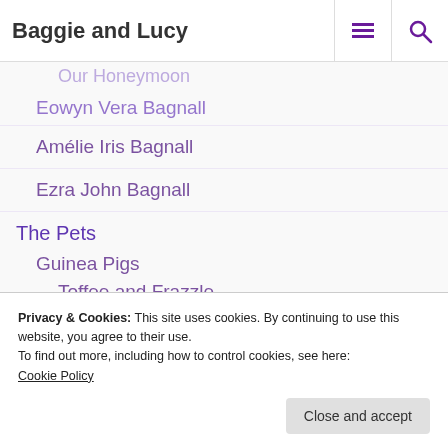Baggie and Lucy
Our Honeymoon
Eowyn Vera Bagnall
Amélie Iris Bagnall
Ezra John Bagnall
The Pets
Guinea Pigs
Toffee and Frazzle
Cats
Willow
Privacy & Cookies: This site uses cookies. By continuing to use this website, you agree to their use.
To find out more, including how to control cookies, see here:
Cookie Policy